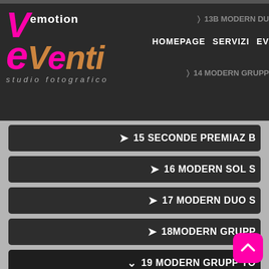[Figure (screenshot): Website screenshot of 'Vemotion eVenti studio fotografico' - a photography studio website with dark theme navigation menu showing items: 13B MODERN DU, 14 MODERN GRUPP, 15 SECONDE PREMIAZ B, 16 MODERN SOL S, 17 MODERN DUO S, 18MODERN GRUPP, 19 MODERN GRUPP YO, with thumbnail images at bottom and a pink back-to-top button]